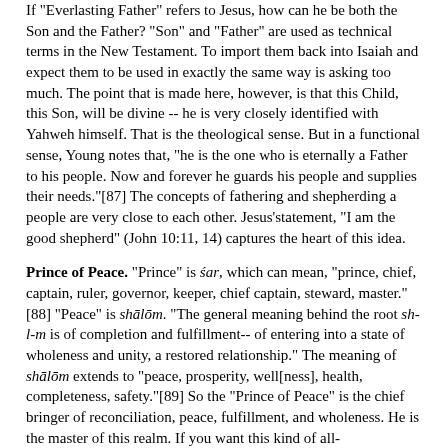If "Everlasting Father" refers to Jesus, how can he be both the Son and the Father? "Son" and "Father" are used as technical terms in the New Testament. To import them back into Isaiah and expect them to be used in exactly the same way is asking too much. The point that is made here, however, is that this Child, this Son, will be divine -- he is very closely identified with Yahweh himself. That is the theological sense. But in a functional sense, Young notes that, "he is the one who is eternally a Father to his people. Now and forever he guards his people and supplies their needs."[87] The concepts of fathering and shepherding a people are very close to each other. Jesus'statement, "I am the good shepherd" (John 10:11, 14) captures the heart of this idea.
Prince of Peace. "Prince" is śar, which can mean, "prince, chief, captain, ruler, governor, keeper, chief captain, steward, master."[88] "Peace" is shālōm. "The general meaning behind the root sh-l-m is of completion and fulfillment-- of entering into a state of wholeness and unity, a restored relationship." The meaning of shālōm extends to "peace, prosperity, well[ness], health, completeness, safety."[89] So the "Prince of Peace" is the chief bringer of reconciliation, peace, fulfillment, and wholeness. He is the master of this realm. If you want this kind of all-encompassing peace, you come to him.
God's people have been troubled, but he is sending a Son, a Child, the Messiah, who will restore them fully. And this Child is Jesus!
Q3. (Isaiah 9:6-7) What in the text convinces us that the Child/Son is the Messiah himself? What do you learn about the Messiah from